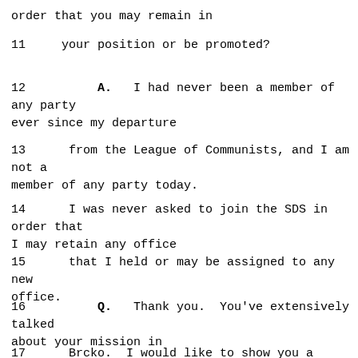order that you may remain in
11     your position or be promoted?
12          A.   I had never been a member of any party ever since my departure
13        from the League of Communists, and I am not a member of any party today.
14        I was never asked to join the SDS in order that I may retain any office
15        that I held or may be assigned to any new office.
16          Q.   Thank you.  You've extensively talked about your mission in
17        Brcko.  I would like to show you a document of